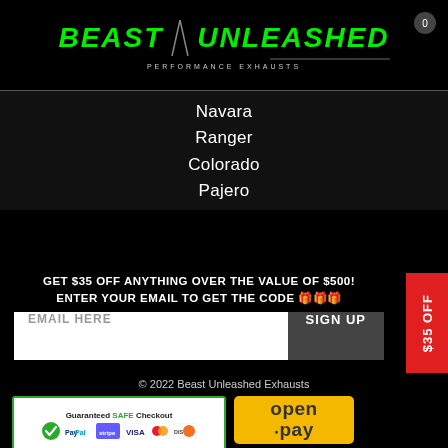[Figure (logo): Beast Unleashed Performance Exhausts logo in green and white on black background]
Navara
Ranger
Colorado
Pajero
GET $35 OFF ANYTHING OVER THE VALUE OF $500! ENTER YOUR EMAIL TO GET THE CODE 🎁🎁🎁
$35 OFF
© 2022 Beast Unleashed Exhausts
[Figure (logo): Guaranteed SAFE Checkout badge with PayPal, Stripe, Visa, Mastercard, Amex, Discover logos]
[Figure (logo): Openpay logo on yellow background]